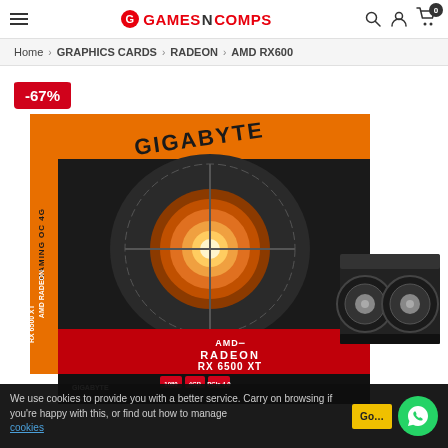GamesNComps — navigation header with logo, search, user, cart icons
Home > GRAPHICS CARDS > RADEON > AMD RX600
[Figure (photo): Gigabyte AMD Radeon RX 6500 XT Gaming OC 4G graphics card product box and card, with -67% discount badge. Box shows GIGABYTE branding, AMD Radeon RX 6500 XT logo, Gaming OC 4G label, 1080, 4GB, PCIe 4.0 badges.]
We use cookies to provide you with a better service. Carry on browsing if you're happy with this, or find out how to manage cookies